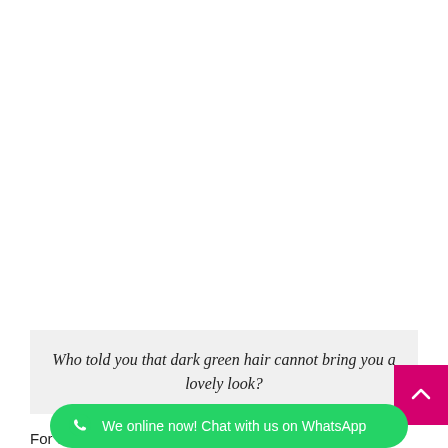[Figure (photo): Blank white area representing a photo of a person with dark green hair (image not visible in this portion of the page)]
Who told you that dark green hair cannot bring you a lovely look?
For dark gre... the girl in the picture. It is enough to create a stunning look. Dark green hair dye is best suited if
We online now! Chat with us on WhatsApp